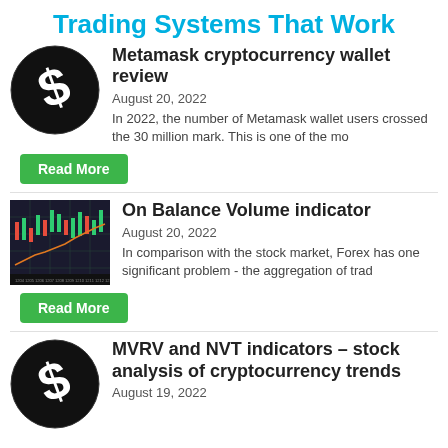Trading Systems That Work
[Figure (logo): Black circular logo with a stylized S dollar sign]
Metamask cryptocurrency wallet review
August 20, 2022
In 2022, the number of Metamask wallet users crossed the 30 million mark. This is one of the mo
Read More
[Figure (screenshot): Dark trading chart with candlesticks and a red/orange line (On Balance Volume indicator chart)]
On Balance Volume indicator
August 20, 2022
In comparison with the stock market, Forex has one significant problem - the aggregation of trad
Read More
[Figure (logo): Black circular logo with a stylized S dollar sign]
MVRV and NVT indicators - stock analysis of cryptocurrency trends
August 19, 2022